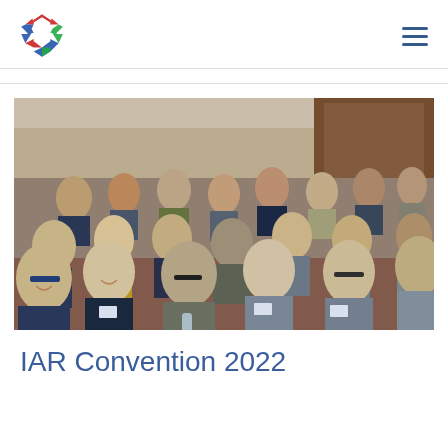IAR logo and navigation
[Figure (photo): A large group of people seated in rows in a conference room, smiling and laughing, wearing name badges, at the IAR Convention 2022.]
IAR Convention 2022